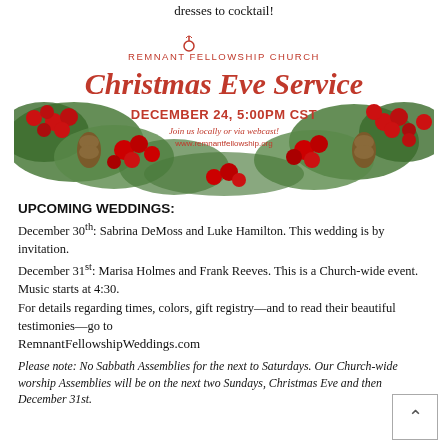dresses to cocktail!
[Figure (illustration): Remnant Fellowship Church Christmas Eve Service banner with holly and berries garland. Text reads: REMNANT FELLOWSHIP CHURCH, Christmas Eve Service, DECEMBER 24, 5:00PM CST, Join us locally or via webcast!, www.remnantfellowship.org]
UPCOMING WEDDINGS:
December 30th:  Sabrina DeMoss and Luke Hamilton. This wedding is by invitation.
December 31st: Marisa Holmes and Frank Reeves.  This is a Church-wide event. Music starts at 4:30.
For details regarding times, colors, gift registry—and to read their beautiful testimonies—go to RemnantFellowshipWeddings.com
Please note: No Sabbath Assemblies for the next to Saturdays. Our Church-wide worship Assemblies will be on the next two Sundays, Christmas Eve and then December 31st.